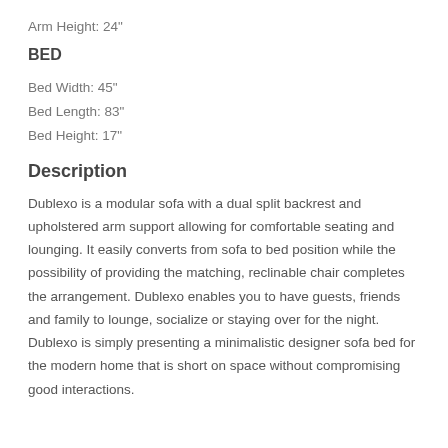Arm Height: 24"
BED
Bed Width: 45"
Bed Length: 83"
Bed Height: 17"
Description
Dublexo is a modular sofa with a dual split backrest and upholstered arm support allowing for comfortable seating and lounging. It easily converts from sofa to bed position while the possibility of providing the matching, reclinable chair completes the arrangement. Dublexo enables you to have guests, friends and family to lounge, socialize or staying over for the night. Dublexo is simply presenting a minimalistic designer sofa bed for the modern home that is short on space without compromising good interactions.